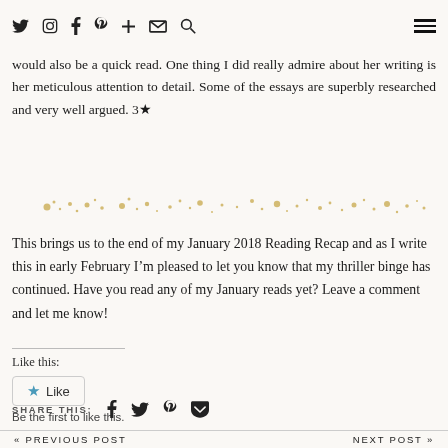Navigation bar with social icons: Twitter, Instagram, Facebook, Pinterest, Plus, Email, Search, and hamburger menu
would also be a quick read. One thing I did really admire about her writing is her meticulous attention to detail. Some of the essays are superbly researched and very well argued. 3★
[Figure (illustration): Decorative gold dot/sparkle divider line]
This brings us to the end of my January 2018 Reading Recap and as I write this in early February I'm pleased to let you know that my thriller binge has continued. Have you read any of my January reads yet? Leave a comment and let me know!
Like this:
★ Like
Be the first to like this.
SHARE THIS: Facebook Twitter Pinterest Pocket
« PREVIOUS POST    NEXT POST »